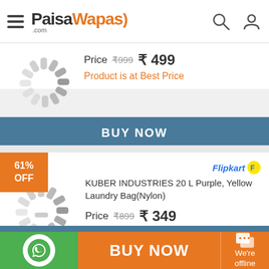PaisaWapas.com
Price ₹999 ₹499
Product is at Best Price
BUY NOW
61% OFF
Flipkart
KUBER INDUSTRIES 20 L Purple, Yellow Laundry Bag(Nylon)
Price ₹899 ₹349
Product is at Best Price
BUY NOW
BUY NOW  We're offline